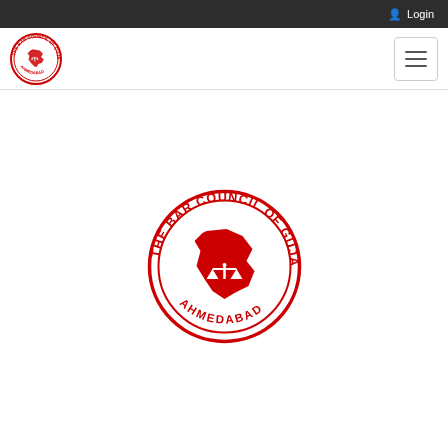Login
[Figure (logo): The Bar Council of Gujarat - Ahmedabad circular seal logo (small, in navigation bar)]
[Figure (logo): The Bar Council of Gujarat - Ahmedabad circular seal logo (large, centered in main content area), red ink stamp style]